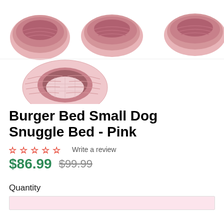[Figure (photo): Four views of a pink burger-shaped dog snuggle bed. Top row shows three overhead/angled views of the closed/donut-shaped bed in pink fabric. Bottom row shows one view of the bed open revealing pink interior.]
Burger Bed Small Dog Snuggle Bed - Pink
☆☆☆☆☆ Write a review
$86.99  $99.99
Quantity